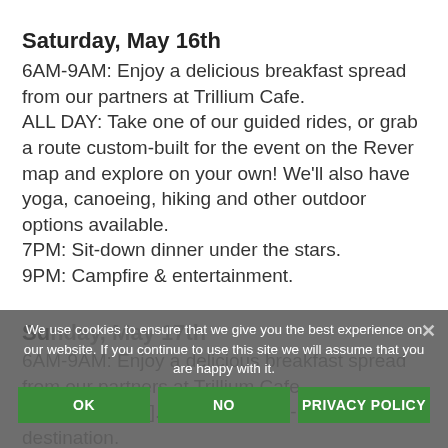Saturday, May 16th
6AM-9AM: Enjoy a delicious breakfast spread from our partners at Trillium Cafe.
ALL DAY: Take one of our guided rides, or grab a route custom-built for the event on the Rever map and explore on your own! We'll also have yoga, canoeing, hiking and other outdoor options available.
7PM: Sit-down dinner under the stars.
9PM: Campfire & entertainment.
Sunday, May 17th
6AM-9AM: Enjoy a delicious breakfast spread from our partners at Trillium Cafe.
11AM: [content obscured by cookie banner] ...back home - or to your next destination.
We use cookies to ensure that we give you the best experience on our website. If you continue to use this site we will assume that you are happy with it.